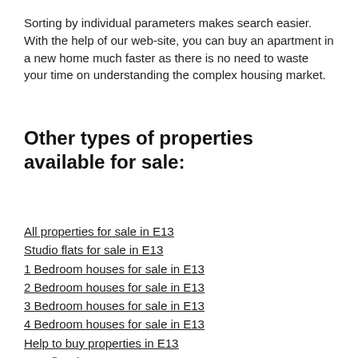Sorting by individual parameters makes search easier. With the help of our web-site, you can buy an apartment in a new home much faster as there is no need to waste your time on understanding the complex housing market.
Other types of properties available for sale:
All properties for sale in E13
Studio flats for sale in E13
1 Bedroom houses for sale in E13
2 Bedroom houses for sale in E13
3 Bedroom houses for sale in E13
4 Bedroom houses for sale in E13
Help to buy properties in E13
New flats in E13